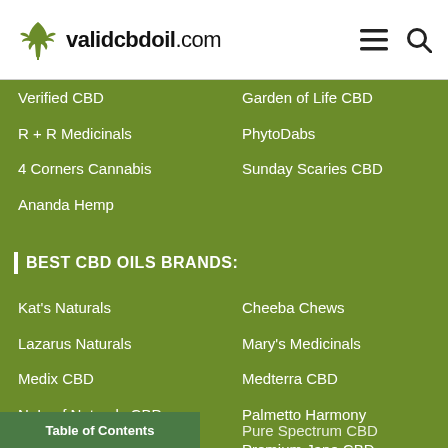validcbdoil.com
Verified CBD
Garden of Life CBD
R + R Medicinals
PhytoDabs
4 Corners Cannabis
Sunday Scaries CBD
Ananda Hemp
BEST CBD OILS BRANDS:
Kat's Naturals
Cheeba Chews
Lazarus Naturals
Mary's Medicinals
Medix CBD
Medterra CBD
NuLeaf Naturals CBD
Palmetto Harmony
Plus CBD Oil
Premium Jane CBD
PureKana
Receptra Naturals
Social CBD (was: Select CBD)
Sunsoil CBD
Pure Spectrum CBD
Table of Contents